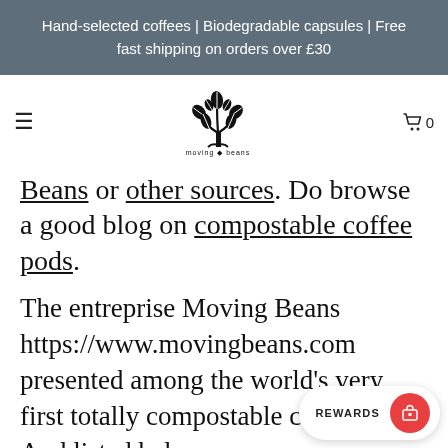Hand-selected coffees | Biodegradable capsules | Free fast shipping on orders over £30
[Figure (logo): Moving Beans logo: a tree made of coffee beans with text 'moving beans' below]
Beans or other sources. Do browse a good blog on compostable coffee pods.
The entreprise Moving Beans https://www.movingbeans.com presented among the world's very first totally compostable coffee pods. And listed below you can rec motorist behind the social cause.